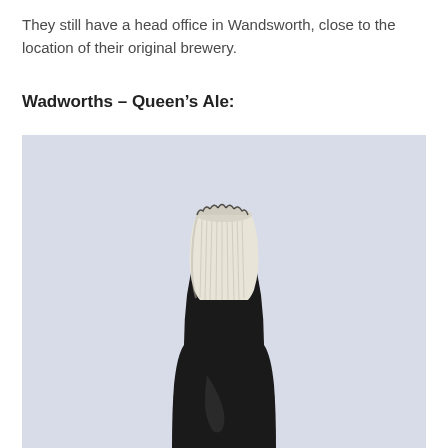They still have a head office in Wandsworth, close to the location of their original brewery.
Wadworths – Queen's Ale:
[Figure (photo): Close-up photograph of the neck and top of a dark glass beer bottle with a white/cream foil or wax capsule covering the crown cap, set against a light blue-grey background.]